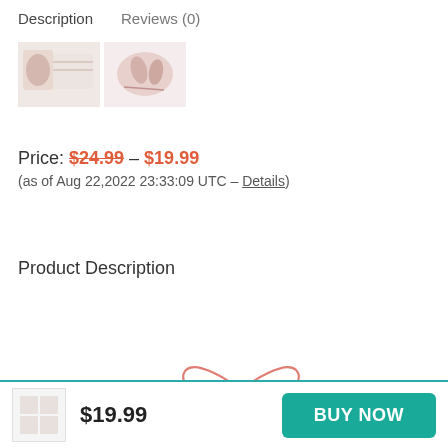Description   Reviews (0)
[Figure (photo): Two small product thumbnail images showing nail-related product]
Price: $24.99 – $19.99
(as of Aug 22,2022 23:33:09 UTC – Details)
Product Description
[Figure (illustration): Pink hand-drawn bow/ribbon illustration]
$19.99  BUY NOW